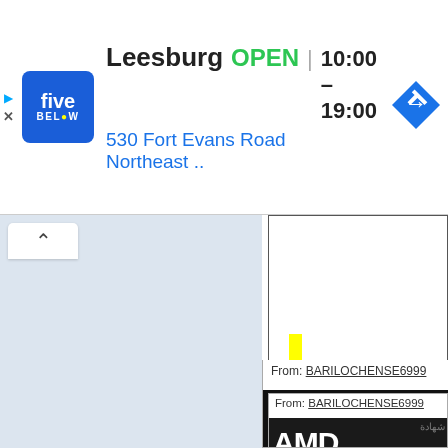[Figure (screenshot): Five Below store ad banner showing Leesburg location, OPEN status, hours 10:00-19:00, address 530 Fort Evans Road Northeast, with navigation arrow icon]
[Figure (screenshot): Web forum interface with left panel (light blue), chevron button, right panel with text editor showing yellow cursor, reply button, From: BARILOCHENSE6999, embedded AMD logo image]